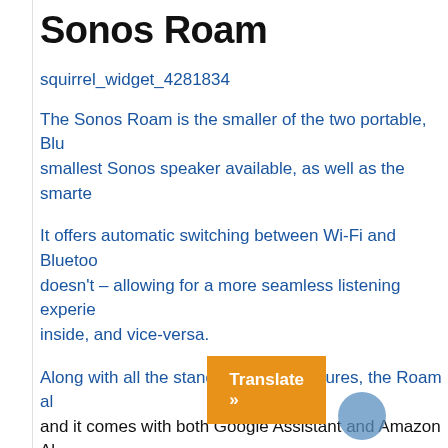Sonos Roam
squirrel_widget_4281834
The Sonos Roam is the smaller of the two portable, Blu… smallest Sonos speaker available, as well as the smarte…
It offers automatic switching between Wi-Fi and Bluetoo… doesn't – allowing for a more seamless listening experie… inside, and vice-versa.
Along with all the standard Sonos features, the Roam al… and it comes with both Google Assistant and Amazon Al… Automatic TruePlay. It can't be used as surrounds or pa… very portable and sounds great.